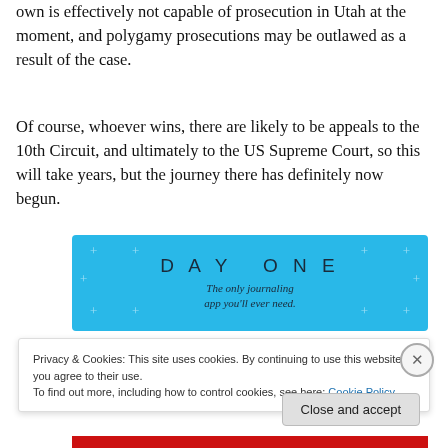own is effectively not capable of prosecution in Utah at the moment, and polygamy prosecutions may be outlawed as a result of the case.
Of course, whoever wins, there are likely to be appeals to the 10th Circuit, and ultimately to the US Supreme Court, so this will take years, but the journey there has definitely now begun.
[Figure (other): DAY ONE - The only journaling app you'll ever need. Advertisement banner with light blue background and decorative plus signs.]
Privacy & Cookies: This site uses cookies. By continuing to use this website, you agree to their use.
To find out more, including how to control cookies, see here: Cookie Policy
Close and accept